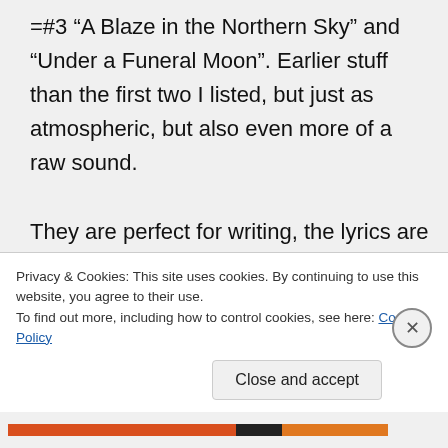=#3 “A Blaze in the Northern Sky” and “Under a Funeral Moon”. Earlier stuff than the first two I listed, but just as atmospheric, but also even more of a raw sound.

They are perfect for writing, the lyrics are often not in English, and when they are you can’t understand them anyways 😉 the repetition of every song gives a hypnotic quality
Privacy & Cookies: This site uses cookies. By continuing to use this website, you agree to their use.
To find out more, including how to control cookies, see here: Cookie Policy
Close and accept